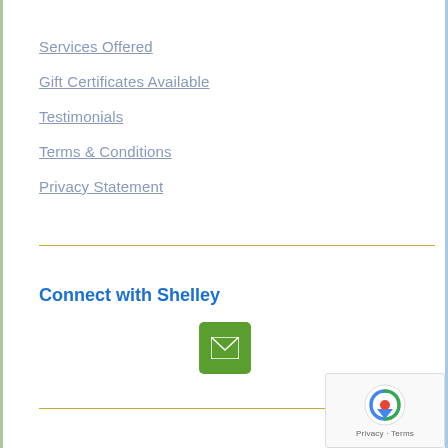Services Offered
Gift Certificates Available
Testimonials
Terms & Conditions
Privacy Statement
Connect with Shelley
[Figure (other): Green email/envelope button icon]
[Figure (other): Google reCAPTCHA widget with Privacy and Terms links]